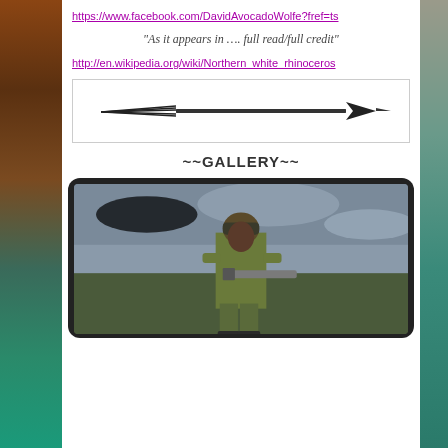https://www.facebook.com/DavidAvocadoWolfe?fref=ts
“As it appears in …. full read/full credit”
http://en.wikipedia.org/wiki/Northern_white_rhinoceros
[Figure (illustration): Decorative arrow pointing right with feathered tail on left side, inside a bordered rectangle]
~~GALLERY~~
[Figure (photo): A soldier in camouflage uniform and helmet holding a weapon, standing against a cloudy sky background, displayed inside a tablet frame]